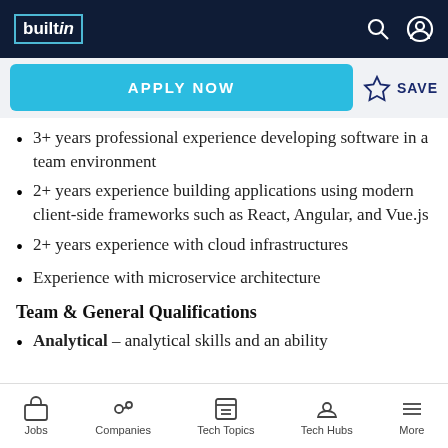builtin
3+ years professional experience developing software in a team environment
2+ years experience building applications using modern client-side frameworks such as React, Angular, and Vue.js
2+ years experience with cloud infrastructures
Experience with microservice architecture
Team & General Qualifications
Analytical – analytical skills and an ability
Jobs   Companies   Tech Topics   Tech Hubs   More